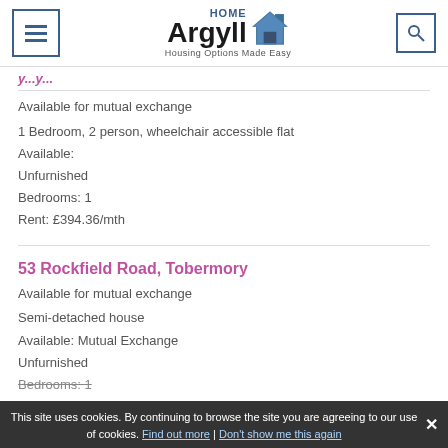HOME Argyll — Housing Options Made Easy
[partial link — cut off at top]
Available for mutual exchange
1 Bedroom, 2 person, wheelchair accessible flat
Available:
Unfurnished
Bedrooms: 1
Rent: £394.36/mth
53 Rockfield Road, Tobermory
Available for mutual exchange
Semi-detached house
Available: Mutual Exchange
Unfurnished
Bedrooms: 1
This site uses cookies. By continuing to browse the site you are agreeing to our use of cookies. Find out more | Don't show me this again  ×